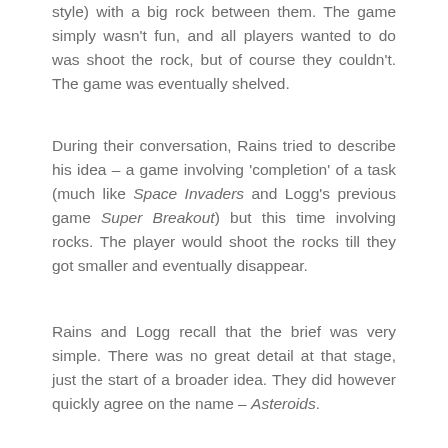style) with a big rock between them. The game simply wasn't fun, and all players wanted to do was shoot the rock, but of course they couldn't. The game was eventually shelved.
During their conversation, Rains tried to describe his idea – a game involving 'completion' of a task (much like Space Invaders and Logg's previous game Super Breakout) but this time involving rocks. The player would shoot the rocks till they got smaller and eventually disappear.
Rains and Logg recall that the brief was very simple. There was no great detail at that stage, just the start of a broader idea. They did however quickly agree on the name – Asteroids.